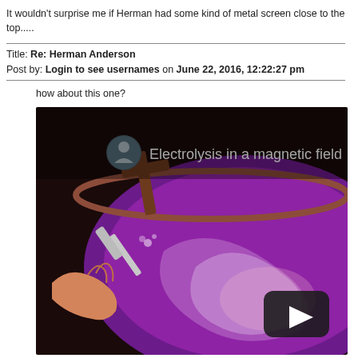It wouldn't surprise me if Herman had some kind of metal screen close to the top.....
Title: Re: Herman Anderson
Post by: Login to see usernames on June 22, 2016, 12:22:27 pm
how about this one?
[Figure (screenshot): YouTube video thumbnail showing electrolysis in a magnetic field — purple liquid in a bowl with a cross-shaped wooden piece, a hand holding a metal probe, and a YouTube play button overlay. Title reads 'Electrolysis in a magnetic field'.]